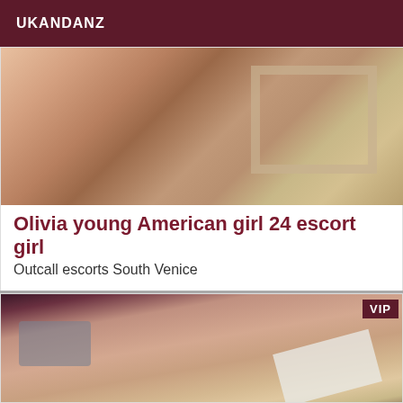UKANDANZ
[Figure (photo): Close-up photo showing skin tones and a wooden picture frame in the background]
Olivia young American girl 24 escort girl
Outcall escorts South Venice
Available for all massage requests and more. I measure 168 cm 62 kilos of the 90c for the chest and a size 38.
[Figure (photo): Close-up photo with VIP badge in upper right corner, dark reddish-brown background at top]